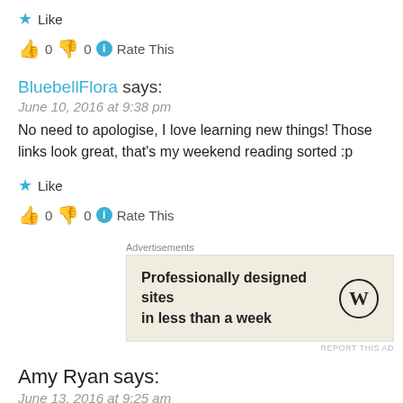★ Like
👍 0 👎 0 ℹ Rate This
BluebellFlora says:
June 10, 2016 at 9:38 pm
No need to apologise, I love learning new things! Those links look great, that's my weekend reading sorted :p
★ Like
👍 0 👎 0 ℹ Rate This
[Figure (other): WordPress advertisement banner: 'Professionally designed sites in less than a week' with WordPress logo]
Amy Ryan says:
June 13, 2016 at 9:25 am